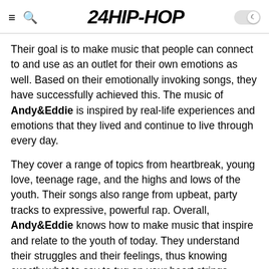24HIP-HOP
Their goal is to make music that people can connect to and use as an outlet for their own emotions as well. Based on their emotionally invoking songs, they have successfully achieved this. The music of Andy&Eddie is inspired by real-life experiences and emotions that they lived and continue to live through every day.
They cover a range of topics from heartbreak, young love, teenage rage, and the highs and lows of the youth. Their songs also range from upbeat, party tracks to expressive, powerful rap. Overall, Andy&Eddie knows how to make music that inspire and relate to the youth of today. They understand their struggles and their feelings, thus knowing exactly what to say to tug on your heart strings.